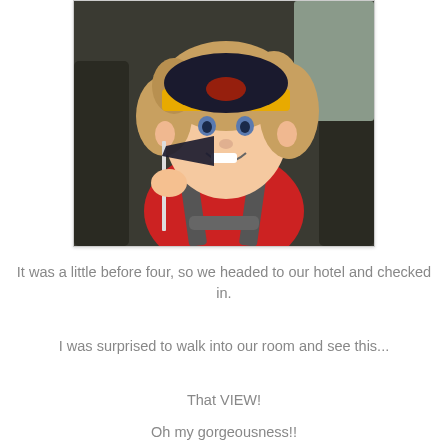[Figure (photo): A young child with curly hair wearing a yellow-brimmed dark cap and a red shirt, sitting in a car seat and holding a flag/pennant, smiling at the camera.]
It was a little before four, so we headed to our hotel and checked in.
I was surprised to walk into our room and see this...
That VIEW!
Oh my gorgeousness!!